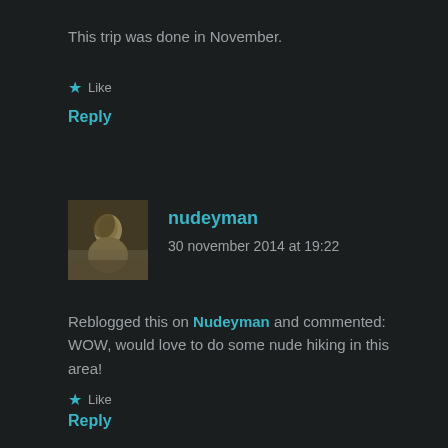This trip was done in November.
★ Like
Reply
[Figure (photo): Avatar photo of nudeyman, a sepia-toned photo of a person outdoors]
nudeyman
30 november 2014 at 19:22
Reblogged this on Nudeyman and commented: WOW, would love to do some nude hiking in this area!
★ Like
Reply